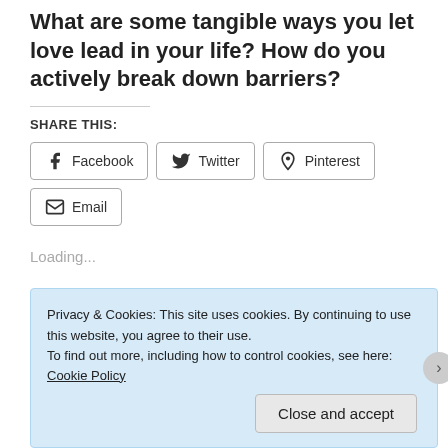What are some tangible ways you let love lead in your life? How do you actively break down barriers?
SHARE THIS:
[Figure (other): Social share buttons for Facebook, Twitter, Pinterest, and Email]
Loading...
Privacy & Cookies: This site uses cookies. By continuing to use this website, you agree to their use. To find out more, including how to control cookies, see here: Cookie Policy
Close and accept